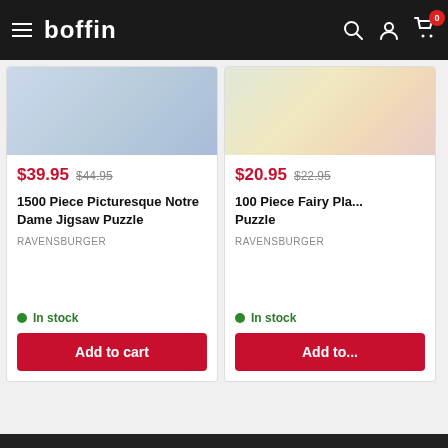boffin — navigation header with hamburger menu, search, account, and cart (0 items)
[Figure (screenshot): Product card image for 1500 Piece Picturesque Notre Dame Jigsaw Puzzle — partially visible puzzle box art with blue tones]
$39.95  $44.95
1500 Piece Picturesque Notre Dame Jigsaw Puzzle
RAVENSBURGER
In stock
Add to cart
[Figure (screenshot): Product card image for 100 Piece Fairy Plane Puzzle — partially visible puzzle box art]
$20.95  $22.95
100 Piece Fairy Pla... Puzzle
RAVENSBURGER
In stock
Add to...